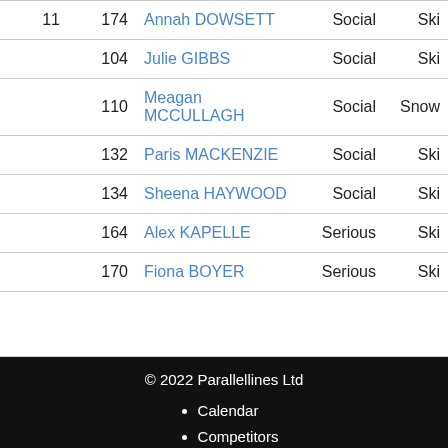| Rank | No. | Name | Type | Sport |
| --- | --- | --- | --- | --- |
| 11 | 174 | Annah DOWSETT | Social | Ski |
|  | 104 | Julie GIBBS | Social | Ski |
|  | 110 | Meagan MCCULLAGH | Social | Snow |
|  | 132 | Paris MACKENZIE | Social | Ski |
|  | 134 | Sheena HAYWOOD | Social | Ski |
|  | 164 | Alex KAPELLE | Serious | Ski |
|  | 170 | Fiona BOYER | Serious | Ski |
|  |  |  |  |  |
© 2022 Parallellines Ltd
Calendar
Competitors
About
Contact